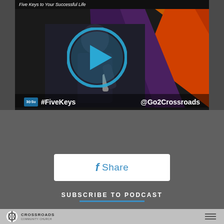[Figure (screenshot): Video thumbnail showing a man in a dark suit speaking on stage with colorful geometric background. A large cyan play button circle is overlaid in the center. Bottom text shows '#FiveKeys' on the left and '@Go2Crossroads' on the right. A title bar at top reads 'Five Keys to Your Successful Life'.]
#FiveKeys
@Go2Crossroads
f Share
SUBSCRIBE TO PODCAST
[Figure (logo): Crossroads Community Church logo with circle icon and text 'CROSSROADS COMMUNITY CHURCH']
CROSSROADS
COMMUNITY CHURCH